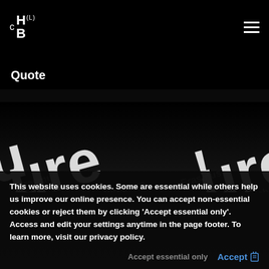c H B (L) [logo] [hamburger menu]
Quote
[Figure (illustration): Diagonal watermark text repeating 'ure!' and 'l' patterns in large white bold lettering overlaid on dark background, appearing to be part of 'Architecture' or similar word repeated as a watermark/decoration]
This website uses cookies. Some are essential while others help us improve our online presence. You can accept non-essential cookies or reject them by clicking ‘Accept essential only’. Access and edit your settings anytime in the page footer. To learn more, visit our privacy policy.
Accept essential only   Accept